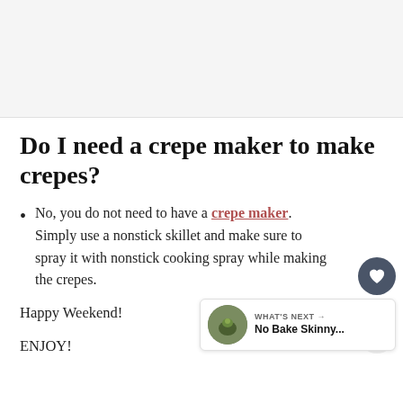[Figure (photo): Top image area, light gray placeholder for a food photo]
Do I need a crepe maker to make crepes?
No, you do not need to have a crepe maker. Simply use a nonstick skillet and make sure to spray it with nonstick cooking spray while making the crepes.
Happy Weekend!
ENJOY!